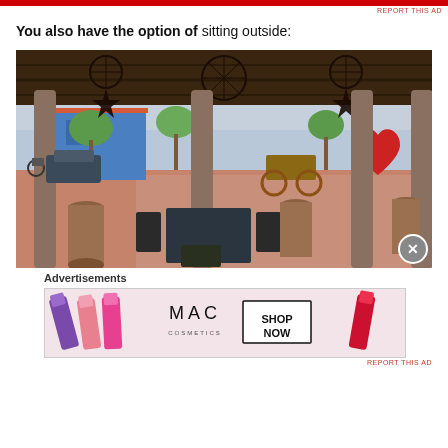REPORT THIS AD
You also have the option of sitting outside:
[Figure (photo): Outdoor seating area of a restaurant with a covered patio. Dark wooden ceiling with decorative star-shaped and circular hanging fixtures. Stone columns support the roof. Outside is a plaza with colorful blue buildings, trees, a red heart sculpture, a wooden wagon, and parked cars. Tables and chairs are visible in the foreground.]
Advertisements
[Figure (photo): MAC cosmetics advertisement showing multiple lipsticks in purple, pink, and red shades alongside the MAC logo and a 'SHOP NOW' call-to-action button.]
REPORT THIS AD